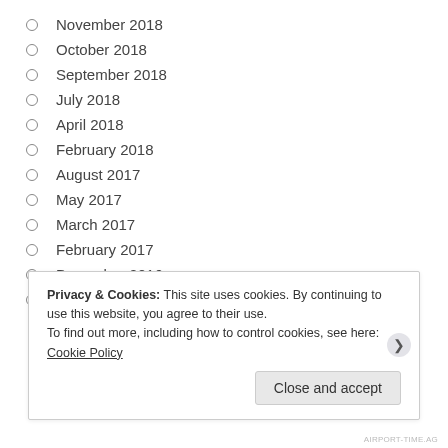November 2018
October 2018
September 2018
July 2018
April 2018
February 2018
August 2017
May 2017
March 2017
February 2017
December 2016
November 2016
Privacy & Cookies: This site uses cookies. By continuing to use this website, you agree to their use. To find out more, including how to control cookies, see here: Cookie Policy
AIRPORT-TIME.AG